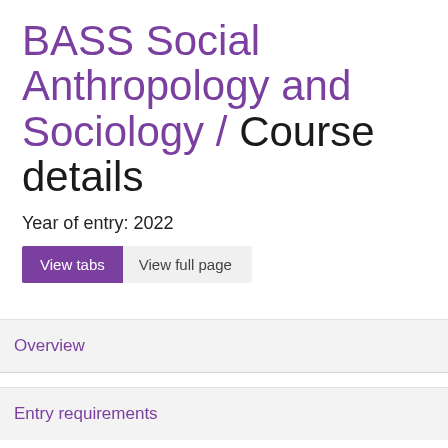BASS Social Anthropology and Sociology / Course details
Year of entry: 2022
View tabs   View full page
Overview
Entry requirements